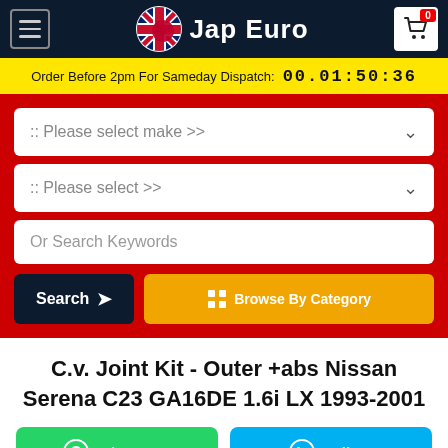Jap Euro
Order Before 2pm For Sameday Dispatch: 00.01:50:36
:: Please select make >>
:: Please select >>
Or Search Keywords
Search
Browse By Category
C.v. Joint Kit - Outer +abs Nissan Serena C23 GA16DE 1.6i LX 1993-2001
WhatsApp
Call Us